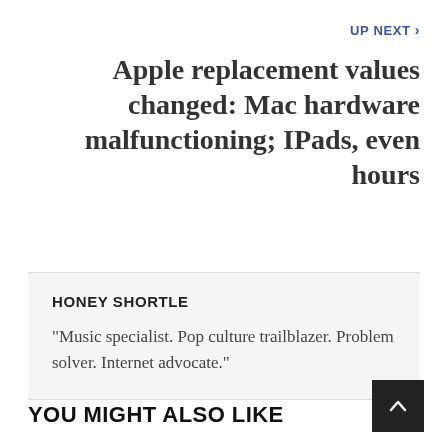UP NEXT >
Apple replacement values changed: Mac hardware malfunctioning; IPads, even hours
HONEY SHORTLE
"Music specialist. Pop culture trailblazer. Problem solver. Internet advocate."
YOU MIGHT ALSO LIKE